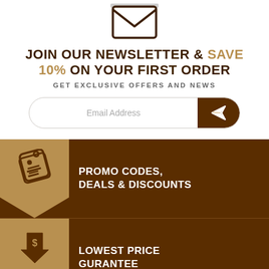[Figure (illustration): Envelope icon — outline style envelope with letter visible]
JOIN OUR NEWSLETTER & SAVE 10% ON YOUR FIRST ORDER
GET EXCLUSIVE OFFERS AND NEWS
[Figure (other): Email address input field with submit button (paper airplane icon)]
PROMO CODES, DEALS & DISCOUNTS
LOWEST PRICE GURANTEE